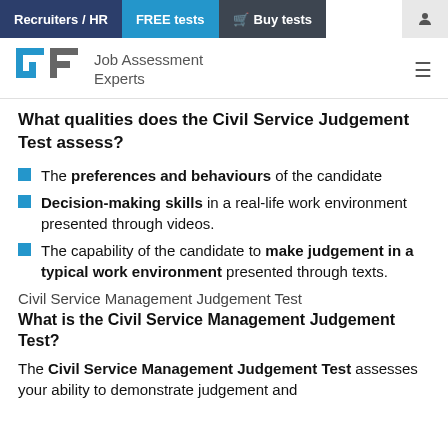Recruiters / HR | FREE tests | Buy tests
[Figure (logo): Job Assessment Experts logo with stylized GF icon in blue and grey]
What qualities does the Civil Service Judgement Test assess?
The preferences and behaviours of the candidate
Decision-making skills in a real-life work environment presented through videos.
The capability of the candidate to make judgement in a typical work environment presented through texts.
Civil Service Management Judgement Test
What is the Civil Service Management Judgement Test?
The Civil Service Management Judgement Test assesses your ability to demonstrate judgement and